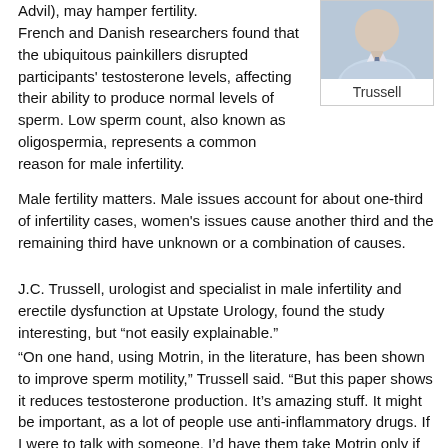Advil), may hamper fertility.
[Figure (photo): Headshot photo of Trussell, a man in a light blue shirt and dark tie]
Trussell
French and Danish researchers found that the ubiquitous painkillers disrupted participants' testosterone levels, affecting their ability to produce normal levels of sperm. Low sperm count, also known as oligospermia, represents a common reason for male infertility.
Male fertility matters. Male issues account for about one-third of infertility cases, women's issues cause another third and the remaining third have unknown or a combination of causes.
J.C. Trussell, urologist and specialist in male infertility and erectile dysfunction at Upstate Urology, found the study interesting, but “not easily explainable.”
“On one hand, using Motrin, in the literature, has been shown to improve sperm motility,” Trussell said. “But this paper shows it reduces testosterone production. It’s amazing stuff. It might be important, as a lot of people use anti-inflammatory drugs. If I were to talk with someone, I’d have them take Motrin only if necessary, but for the shortest time interval.”